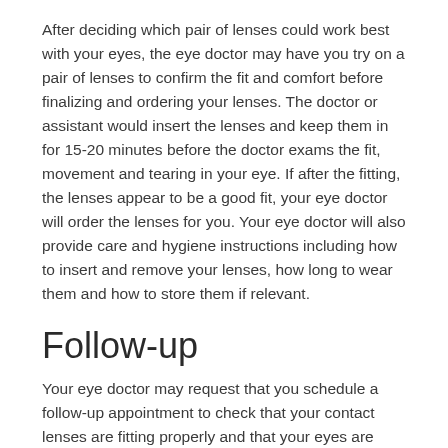After deciding which pair of lenses could work best with your eyes, the eye doctor may have you try on a pair of lenses to confirm the fit and comfort before finalizing and ordering your lenses. The doctor or assistant would insert the lenses and keep them in for 15-20 minutes before the doctor exams the fit, movement and tearing in your eye. If after the fitting, the lenses appear to be a good fit, your eye doctor will order the lenses for you. Your eye doctor will also provide care and hygiene instructions including how to insert and remove your lenses, how long to wear them and how to store them if relevant.
Follow-up
Your eye doctor may request that you schedule a follow-up appointment to check that your contact lenses are fitting properly and that your eyes are adjusting properly. If you are experiencing discomfort or dryness in your eyes you should visit your eye doctor as soon as possible. Your eye doctor may decide to try a different lens, a different contact lens disinfecting solution or to try an adjustment in your wearing schedule.